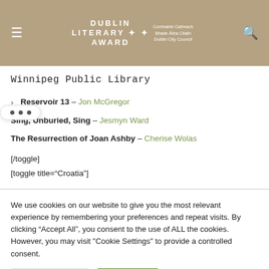Dublin Literary Award — Comhairle Cathrach Bhaile Átha Cliath Dublin City Council
Winnipeg Public Library
Reservoir 13 – Jon McGregor
Sing, Unburied, Sing – Jesmyn Ward
The Resurrection of Joan Ashby – Cherise Wolas
[/toggle]
[toggle title="Croatia"]
We use cookies on our website to give you the most relevant experience by remembering your preferences and repeat visits. By clicking “Accept All”, you consent to the use of ALL the cookies. However, you may visit "Cookie Settings" to provide a controlled consent.